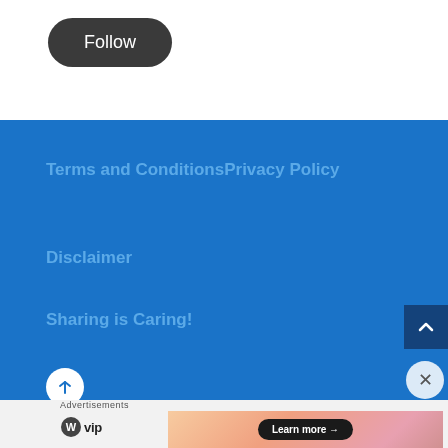[Figure (screenshot): Dark rounded rectangle button with white text reading 'Follow']
Terms and ConditionsPrivacy Policy
Disclaimer
Sharing is Caring!
[Figure (screenshot): Advertisement bar with WordPress VIP logo and 'Learn more' button on gradient background]
Advertisements